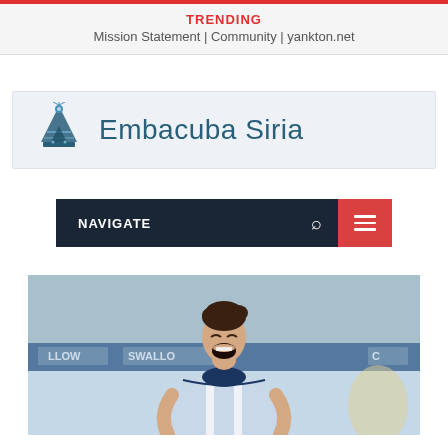TRENDING
Mission Statement | Community | yankton.net
[Figure (logo): Embacuba Siria logo with icon and text on light blue background]
NAVIGATE
[Figure (photo): A young male football player celebrating with mouth open, wearing a light blue and white jersey, stadium advertising boards in background]